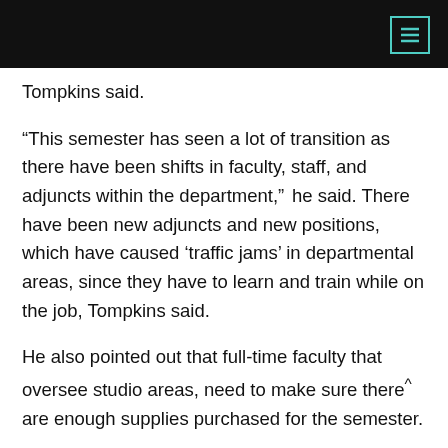Tompkins said.
“This semester has seen a lot of transition as there have been shifts in faculty, staff, and adjuncts within the department,” he said. There have been new adjuncts and new positions, which have caused ‘traffic jams’ in departmental areas, since they have to learn and train while on the job, Tompkins said.
He also pointed out that full-time faculty that oversee studio areas, need to make sure there are enough supplies purchased for the semester.